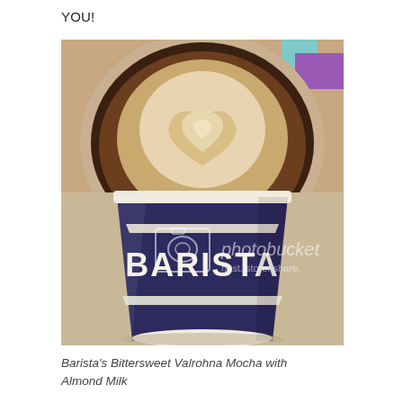YOU!
[Figure (photo): A Barista-branded dark paper cup filled with a latte/mocha featuring heart-shaped latte art on top, sitting on a white surface. The cup has 'BARISTA' in bold white letters on a dark navy/purple cup. A Photobucket watermark overlays the center of the image.]
Barista's Bittersweet Valrohna Mocha with Almond Milk